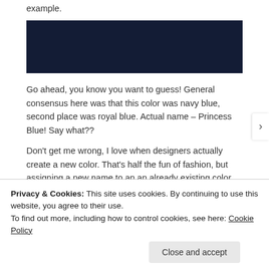example.
[Figure (photo): Solid dark navy/dark blue color swatch rectangle]
Go ahead, you know you want to guess! General consensus here was that this color was navy blue, second place was royal blue. Actual name – Princess Blue! Say what??
Don't get me wrong, I love when designers actually create a new color. That's half the fun of fashion, but assigning a new name to an an already existing color
Privacy & Cookies: This site uses cookies. By continuing to use this website, you agree to their use.
To find out more, including how to control cookies, see here: Cookie Policy
Close and accept